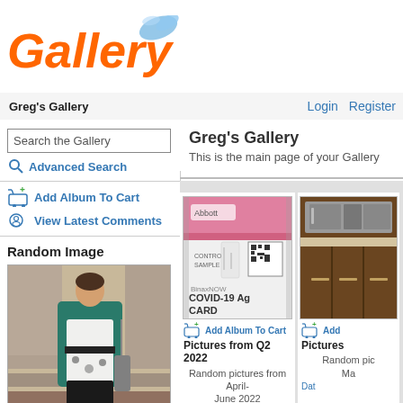[Figure (logo): Gallery application logo with orange italic text and blue water splash graphic]
Greg's Gallery    Login  Register
Search the Gallery
Advanced Search
Add Album To Cart
View Latest Comments
Random Image
[Figure (photo): Woman wearing teal cardigan over floral dress standing on stone steps]
IMG_1436_2
Date: 05/16/2008 Views: 1616
Your Cart
Greg's Gallery
This is the main page of your Gallery
[Figure (photo): Abbott BinaxNOW COVID-19 Ag Card rapid test kit photographed on stone surface]
Add Album To Cart
Pictures from Q2 2022
Random pictures from April-June 2022
Date: 05/22/2022
[Figure (photo): Kitchen interior showing stainless steel appliances and dark wood cabinetry]
Add
Pictures